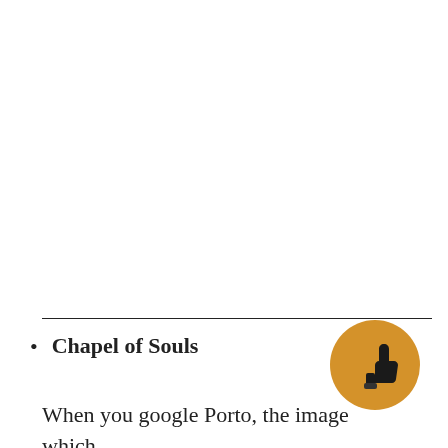Chapel of Souls
[Figure (illustration): Golden/amber circle with a black thumbs-up hand icon inside]
When you google Porto, the image which